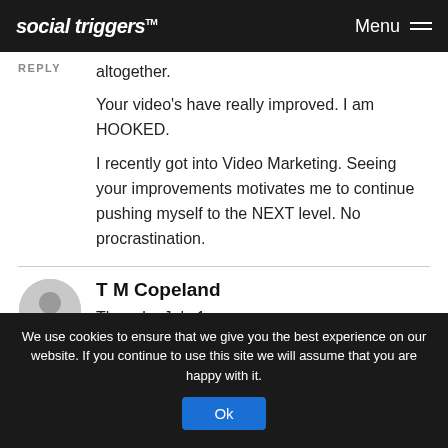social triggers™  Menu
altogether.
Your video's have really improved. I am HOOKED.
I recently got into Video Marketing. Seeing your improvements motivates me to continue pushing myself to the NEXT level. No procrastination.
T M Copeland
Three by July 1:
1) Start on Back yard, huge project
2) Lose ten pounds
3)Finish edit of The Road to Timnaha Island (novel)
We use cookies to ensure that we give you the best experience on our website. If you continue to use this site we will assume that you are happy with it. Ok